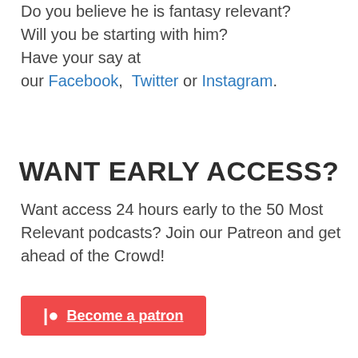Do you believe he is fantasy relevant? Will you be starting with him? Have your say at our Facebook, Twitter or Instagram.
WANT EARLY ACCESS?
Want access 24 hours early to the 50 Most Relevant podcasts? Join our Patreon and get ahead of the Crowd!
[Figure (other): Red Patreon button with Patreon logo and text 'Become a patron']
NEXT UP...
Patreon Exclusive | 2021 Draft Class | Top 10 Keeper Ranks